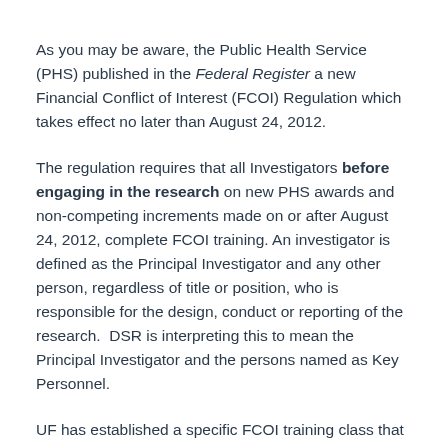As you may be aware, the Public Health Service (PHS) published in the Federal Register a new Financial Conflict of Interest (FCOI) Regulation which takes effect no later than August 24, 2012.
The regulation requires that all Investigators before engaging in the research on new PHS awards and non-competing increments made on or after August 24, 2012, complete FCOI training. An investigator is defined as the Principal Investigator and any other person, regardless of title or position, who is responsible for the design, conduct or reporting of the research. DSR is interpreting this to mean the Principal Investigator and the persons named as Key Personnel.
UF has established a specific FCOI training class that satisfies the PHS requirement. The training class can be accessed through myUFL > My Self Service > Training and